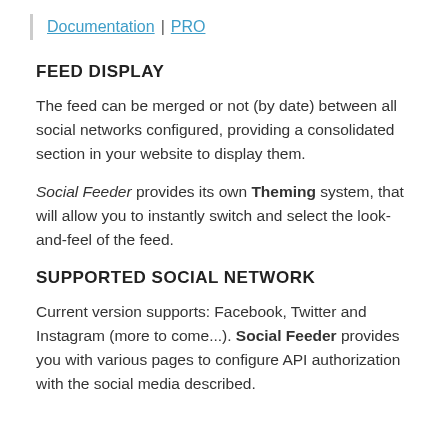Documentation | PRO
FEED DISPLAY
The feed can be merged or not (by date) between all social networks configured, providing a consolidated section in your website to display them.
Social Feeder provides its own Theming system, that will allow you to instantly switch and select the look-and-feel of the feed.
SUPPORTED SOCIAL NETWORK
Current version supports: Facebook, Twitter and Instagram (more to come...). Social Feeder provides you with various pages to configure API authorization with the social media described.